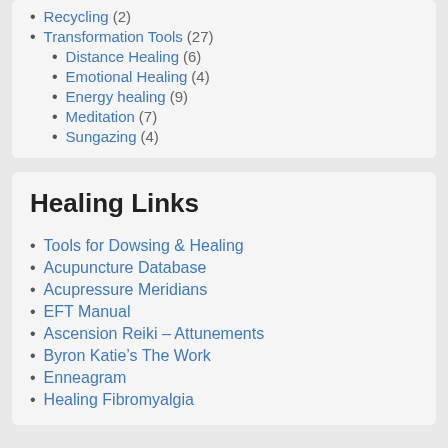Recycling (2)
Transformation Tools (27)
Distance Healing (6)
Emotional Healing (4)
Energy healing (9)
Meditation (7)
Sungazing (4)
Healing Links
Tools for Dowsing & Healing
Acupuncture Database
Acupressure Meridians
EFT Manual
Ascension Reiki – Attunements
Byron Katie's The Work
Enneagram
Healing Fibromyalgia